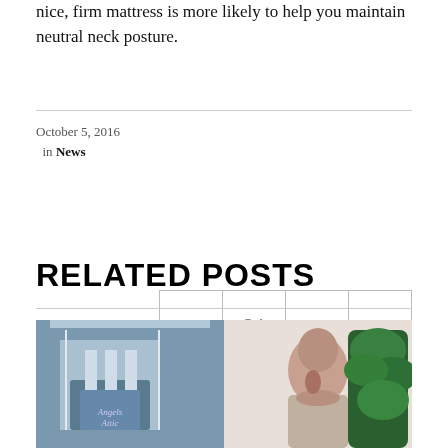nice, firm mattress is more likely to help you maintain neutral neck posture.
October 5, 2016
in News
[Figure (other): Social share buttons for Facebook, Twitter, Reddit, and Tumblr]
RELATED POSTS
[Figure (photo): Two related post thumbnail images: left shows the Angels Attic building exterior, right shows a woman with dark hair seated near a large plant]